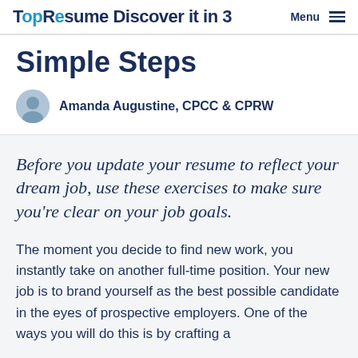TopResume | Discover it in 3  Menu ≡
Simple Steps
Amanda Augustine, CPCC & CPRW
Before you update your resume to reflect your dream job, use these exercises to make sure you're clear on your job goals.
The moment you decide to find new work, you instantly take on another full-time position. Your new job is to brand yourself as the best possible candidate in the eyes of prospective employers. One of the ways you will do this is by crafting a